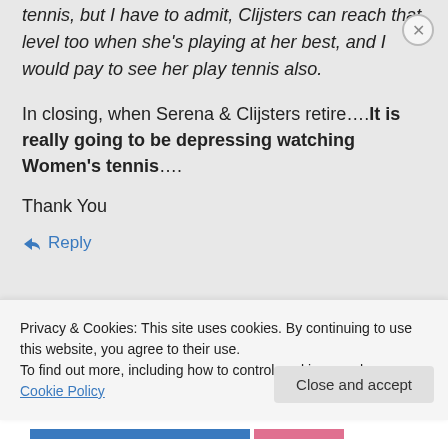tennis, but I have to admit, Clijsters can reach that level too when she's playing at her best, and I would pay to see her play tennis also.
In closing, when Serena & Clijsters retire….It is really going to be depressing watching Women's tennis….
Thank You
Reply
Privacy & Cookies: This site uses cookies. By continuing to use this website, you agree to their use. To find out more, including how to control cookies, see here: Cookie Policy
Close and accept